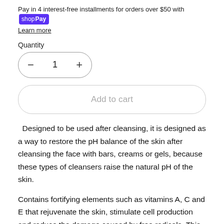Pay in 4 interest-free installments for orders over $50 with Shop Pay
Learn more
Quantity
− 1 +
Add to cart
Designed to be used after cleansing, it is designed as a way to restore the pH balance of the skin after cleansing the face with bars, creams or gels, because these types of cleansers raise the natural pH of the skin.
Contains fortifying elements such as vitamins A, C and E that rejuvenate the skin, stimulate cell production and reduce the damage caused by free radicals. This will also